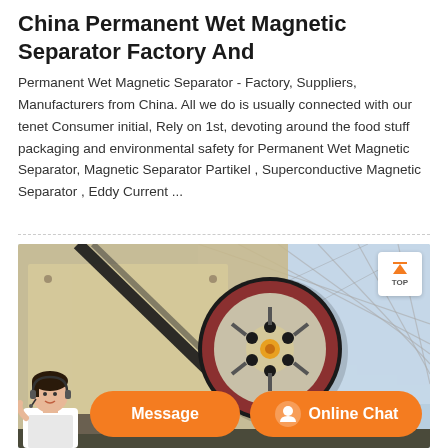China Permanent Wet Magnetic Separator Factory And
Permanent Wet Magnetic Separator - Factory, Suppliers, Manufacturers from China. All we do is usually connected with our tenet Consumer initial, Rely on 1st, devoting around the food stuff packaging and environmental safety for Permanent Wet Magnetic Separator, Magnetic Separator Partikel , Superconductive Magnetic Separator , Eddy Current ...
[Figure (photo): Industrial machinery showing a large belt drive pulley wheel on heavy equipment inside a factory/industrial building with steel frame roof structure visible in background. Orange chat bar with customer service agent avatar at bottom.]